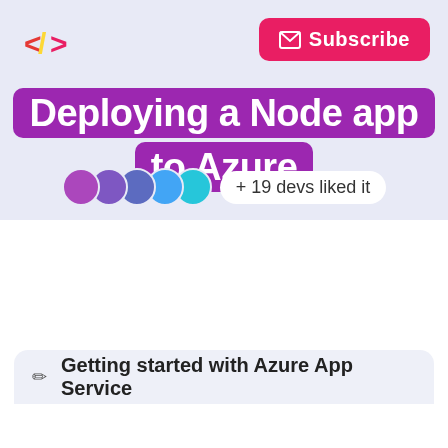[Figure (logo): Code bracket logo with red and yellow chevrons forming a < /> symbol]
[Figure (other): Pink Subscribe button with envelope icon]
Deploying a Node app to Azure
+ 19 devs liked it
Getting started with Azure App Service